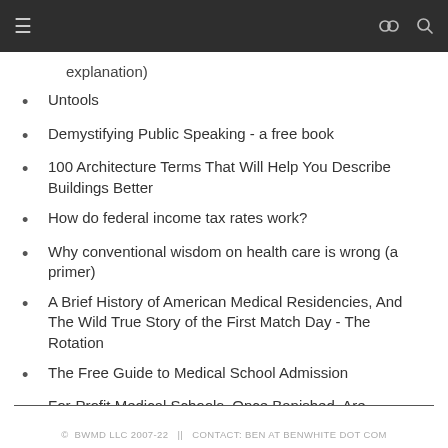explanation)
Untools
Demystifying Public Speaking - a free book
100 Architecture Terms That Will Help You Describe Buildings Better
How do federal income tax rates work?
Why conventional wisdom on health care is wrong (a primer)
A Brief History of American Medical Residencies, And The Wild True Story of the First Match Day - The Rotation
The Free Guide to Medical School Admission
For-Profit Medical Schools, Once Banished, Are Sneaking Back
© BWMD LLC 2007-22  ||  CONTACT: BEN AT BENWHITE DOT COM